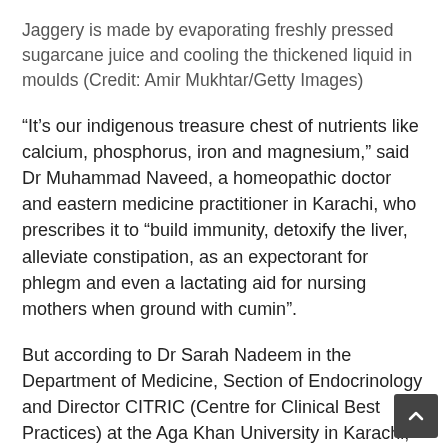Jaggery is made by evaporating freshly pressed sugarcane juice and cooling the thickened liquid in moulds (Credit: Amir Mukhtar/Getty Images)
“It’s our indigenous treasure chest of nutrients like calcium, phosphorus, iron and magnesium,” said Dr Muhammad Naveed, a homeopathic doctor and eastern medicine practitioner in Karachi, who prescribes it to “build immunity, detoxify the liver, alleviate constipation, as an expectorant for phlegm and even a lactating aid for nursing mothers when ground with cumin”.
But according to Dr Sarah Nadeem in the Department of Medicine, Section of Endocrinology and Director CITRIC (Centre for Clinical Best Practices) at the Aga Khan University in Karachi, the health halo-effect and diabetics’ refusal to acknowledge jaggery as sugar – no matter how unrefined – is potentially dangerous.
“A diabetic’s body doesn’t care if it’s white sugar or